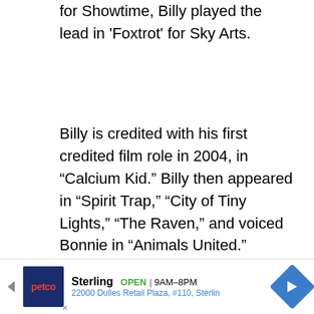Scotlands in 'True Love,' and Penny Dreadful for Showtime, Billy played the lead in 'Foxtrot' for Sky Arts.
Billy is credited with his first credited film role in 2004, in “Calcium Kid.” Billy then appeared in “Spirit Trap,” “City of Tiny Lights,” “The Raven,” and voiced Bonnie in “Animals United.”
Billie’s most notable roles have been on stage following her decision to step away from television and film. The Garrick Theatre saw her play Ann in Christopher Hampton’s sold-out production of ‘Treats’ in 2007. She began a
[Figure (other): Petco advertisement banner: Sterling location, OPEN 9AM-8PM, 22000 Dulles Retail Plaza, #110, Sterling]